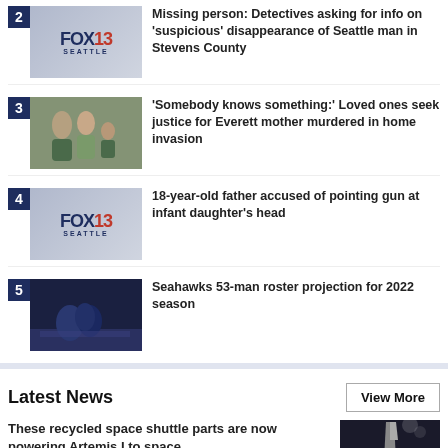2 Missing person: Detectives asking for info on 'suspicious' disappearance of Seattle man in Stevens County
3 'Somebody knows something:' Loved ones seek justice for Everett mother murdered in home invasion
4 18-year-old father accused of pointing gun at infant daughter's head
5 Seahawks 53-man roster projection for 2022 season
Latest News
These recycled space shuttle parts are now powering Artemis I to space